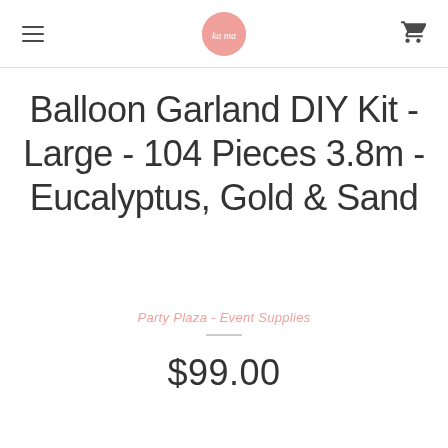Party Plaza - Event Supplies (navigation header with hamburger menu, logo, and cart icon)
Balloon Garland DIY Kit - Large - 104 Pieces 3.8m - Eucalyptus, Gold & Sand
Party Plaza - Event Supplies
$99.00